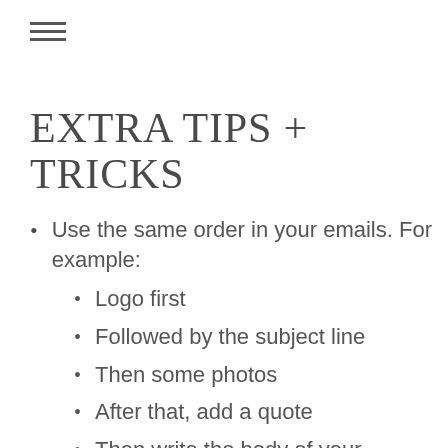[Figure (other): Hamburger menu icon with three horizontal lines]
EXTRA TIPS + TRICKS
Use the same order in your emails. For example:
Logo first
Followed by the subject line
Then some photos
After that, add a quote
Then write the body of your